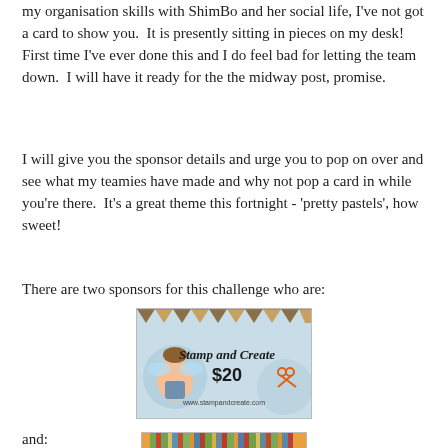my organisation skills with ShimBo and her social life, I've not got a card to show you.  It is presently sitting in pieces on my desk!  First time I've ever done this and I do feel bad for letting the team down.  I will have it ready for the the midway post, promise.
I will give you the sponsor details and urge you to pop on over and see what my teamies have made and why not pop a card in while you're there.  It's a great theme this fortnight - 'pretty pastels', how sweet!
There are two sponsors for this challenge who are:
[Figure (illustration): Stamp and Create $20 sponsor banner with fairy character and scissors on teal/blue background with bunting]
and:
[Figure (illustration): Colorful vertical stripes banner - sponsor image with multicolor stripe pattern]